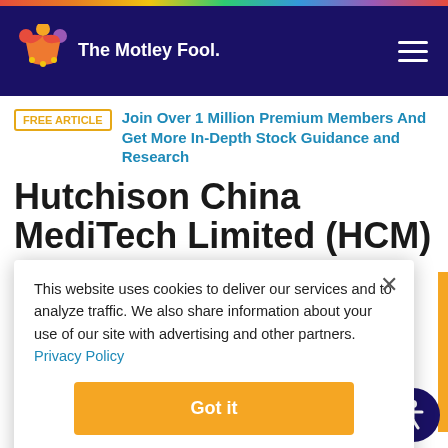The Motley Fool
FREE ARTICLE  Join Over 1 Million Premium Members And Get More In-Depth Stock Guidance and Research
Hutchison China MediTech Limited (HCM) Q4 2019 Earnings Call Transcript
This website uses cookies to deliver our services and to analyze traffic. We also share information about your use of our site with advertising and other partners. Privacy Policy
Got it
Cookie Settings